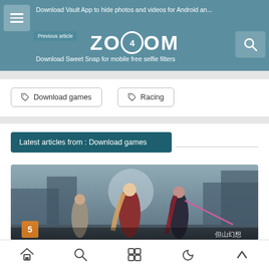ZOOOM - Download Vault App to hide photos and videos for Android an... / Download Sweet Snap for mobile free selfie filters
Download games
Racing
Latest articles from : Download games
[Figure (photo): Anime game artwork showing two female warrior characters in a post-apocalyptic setting]
Navigation bar with home, search, apps, moon, and up icons